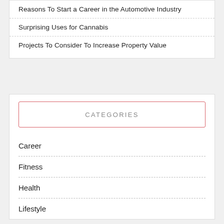Reasons To Start a Career in the Automotive Industry
Surprising Uses for Cannabis
Projects To Consider To Increase Property Value
CATEGORIES
Career
Fitness
Health
Lifestyle